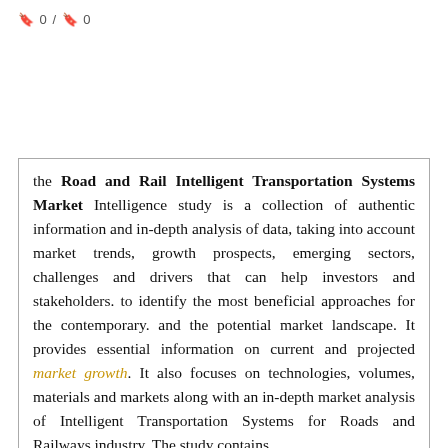🔖 0 / 🔖 0
the Road and Rail Intelligent Transportation Systems Market Intelligence study is a collection of authentic information and in-depth analysis of data, taking into account market trends, growth prospects, emerging sectors, challenges and drivers that can help investors and stakeholders. to identify the most beneficial approaches for the contemporary. and the potential market landscape. It provides essential information on current and projected market growth. It also focuses on technologies, volumes, materials and markets along with an in-depth market analysis of Intelligent Transportation Systems for Roads and Railways industry. The study contains